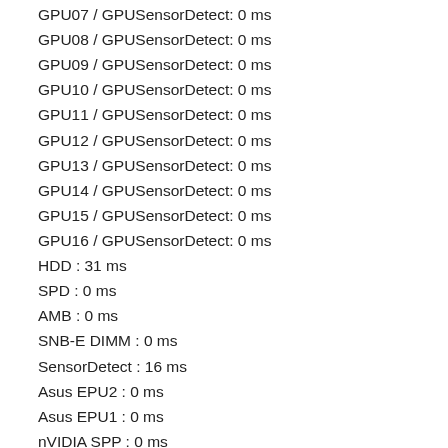GPU07 / GPUSensorDetect: 0 ms
GPU08 / GPUSensorDetect: 0 ms
GPU09 / GPUSensorDetect: 0 ms
GPU10 / GPUSensorDetect: 0 ms
GPU11 / GPUSensorDetect: 0 ms
GPU12 / GPUSensorDetect: 0 ms
GPU13 / GPUSensorDetect: 0 ms
GPU14 / GPUSensorDetect: 0 ms
GPU15 / GPUSensorDetect: 0 ms
GPU16 / GPUSensorDetect: 0 ms
HDD : 31 ms
SPD : 0 ms
AMB : 0 ms
SNB-E DIMM : 0 ms
SensorDetect : 16 ms
Asus EPU2 : 0 ms
Asus EPU1 : 0 ms
nVIDIA SPP : 0 ms
nVIDIA MCP : 0 ms
Intel GMCH : 0 ms
Intel PCH : 0 ms
Intel SNB : 0 ms